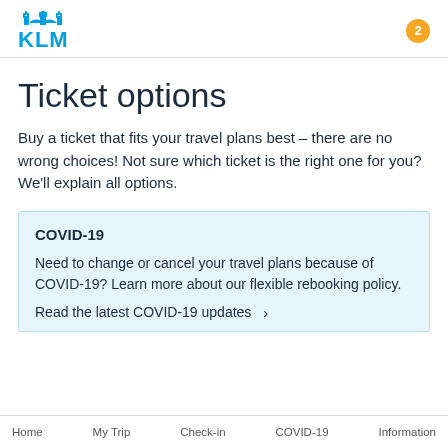KLM logo and notification badge (2)
Ticket options
Buy a ticket that fits your travel plans best – there are no wrong choices! Not sure which ticket is the right one for you? We'll explain all options.
COVID-19
Need to change or cancel your travel plans because of COVID-19? Learn more about our flexible rebooking policy.
Read the latest COVID-19 updates >
Home   My Trip   Check-in   COVID-19   Information